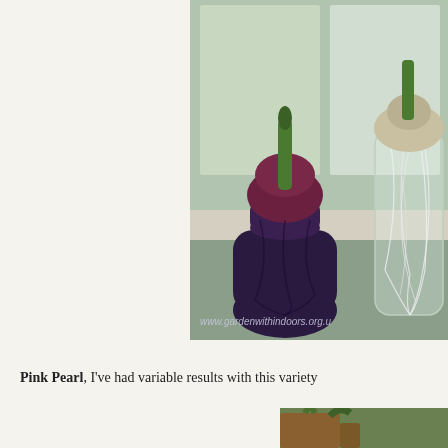[Figure (photo): Photo of two hyacinth bulbs on a windowsill — one in a dark purple ceramic vase with roots visible through the glass, showing a sprouting green shoot, and one in a clear glass vase with long white roots trailing down. A watermark reads www.gardenwithindoors.org.u]
Pink Pearl, I've had variable results with this variety
[Figure (photo): Partial photo at bottom right showing a close-up of a hyacinth bulb with green shoots emerging.]